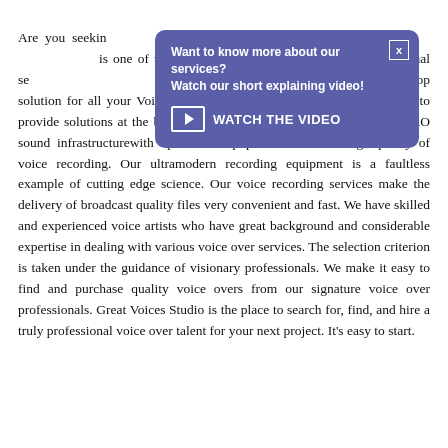Are you seeking professional Voice Over and Dubbing services? Great Voices Studio is one of the leading online platforms offering professional services like Voice Over, Dubbing and Transcription. We are a one stop solution for all your Voice Over and Dubbing needs. Our main aim is to provide solutions at the best rates and lightning fast speed. We have PRO sound infrastructurewith up-to-date equipment to ensure high-quality of voice recording. Our ultramodern recording equipment is a faultless example of cutting edge science. Our voice recording services make the delivery of broadcast quality files very convenient and fast. We have skilled and experienced voice artists who have great background and considerable expertise in dealing with various voice over services. The selection criterion is taken under the guidance of visionary professionals. We make it easy to find and purchase quality voice overs from our signature voice over professionals. Great Voices Studio is the place to search for, find, and hire a truly professional voice over talent for your next project. It's easy to start.
[Figure (screenshot): A popup overlay with purple/blue background. Title text: 'Want to know more about our services? Watch our short explaining video!' with a close button (X). Below is a 'WATCH THE VIDEO' button with a video camera icon.]